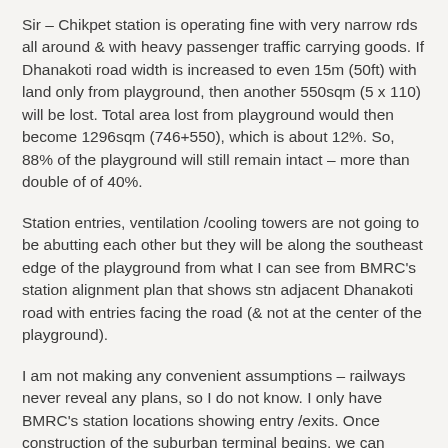Sir – Chikpet station is operating fine with very narrow rds all around & with heavy passenger traffic carrying goods. If Dhanakoti road width is increased to even 15m (50ft) with land only from playground, then another 550sqm (5 x 110) will be lost. Total area lost from playground would then become 1296sqm (746+550), which is about 12%. So, 88% of the playground will still remain intact – more than double of of 40%.
Station entries, ventilation /cooling towers are not going to be abutting each other but they will be along the southeast edge of the playground from what I can see from BMRC's station alignment plan that shows stn adjacent Dhanakoti road with entries facing the road (& not at the center of the playground).
I am not making any convenient assumptions – railways never reveal any plans, so I do not know. I only have BMRC's station locations showing entry /exits. Once construction of the suburban terminal begins, we can estimate distances more accurately. You keep quoting distance as 500m & ignore the